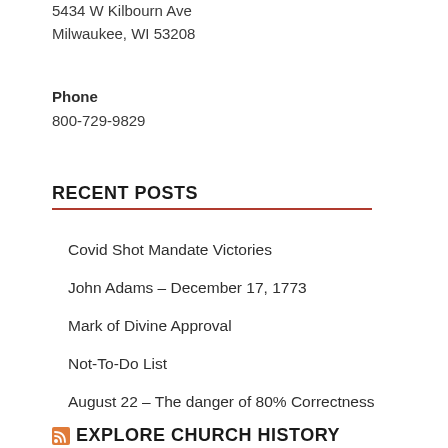5434 W Kilbourn Ave
Milwaukee, WI 53208
Phone
800-729-9829
RECENT POSTS
Covid Shot Mandate Victories
John Adams – December 17, 1773
Mark of Divine Approval
Not-To-Do List
August 22 – The danger of 80% Correctness
EXPLORE CHURCH HISTORY